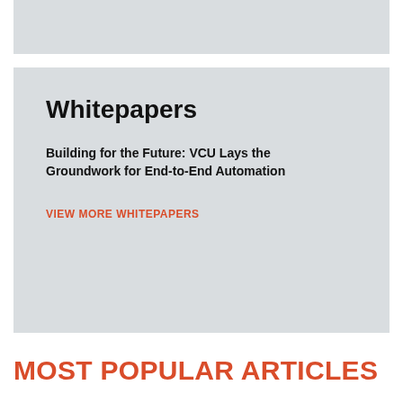[Figure (other): Top gray placeholder box]
Whitepapers
Building for the Future: VCU Lays the Groundwork for End-to-End Automation
VIEW MORE WHITEPAPERS
MOST POPULAR ARTICLES